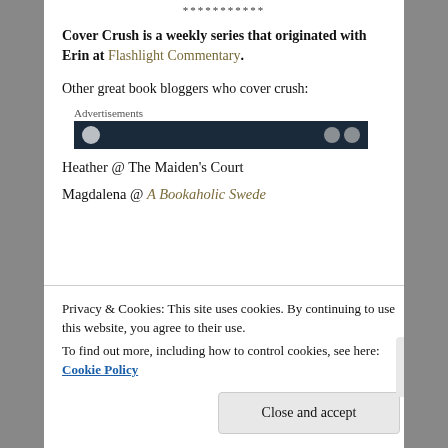***********
Cover Crush is a weekly series that originated with Erin at Flashlight Commentary.
Other great book bloggers who cover crush:
[Figure (other): Advertisements bar with dark navy background and partial visible logo/icons]
Heather @ The Maiden's Court
Magdalena @ A Bookaholic Swede
Privacy & Cookies: This site uses cookies. By continuing to use this website, you agree to their use. To find out more, including how to control cookies, see here: Cookie Policy
Close and accept